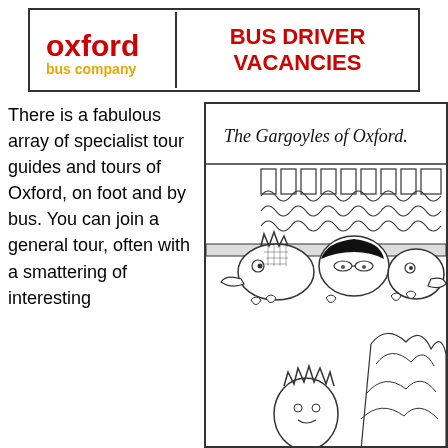[Figure (logo): Oxford Bus Company logo with red 'oxford' text and yellow 'bus company' below]
BUS DRIVER VACANCIES
There is a fabulous array of specialist tour guides and tours of Oxford, on foot and by bus. You can join a general tour, often with a smattering of interesting
[Figure (illustration): Cartoon illustration titled 'The Gargoyles of Oxford.' showing three gargoyle creatures peering over a ledge with decorative stone architecture behind them, and a figure with spiky hair at the bottom]